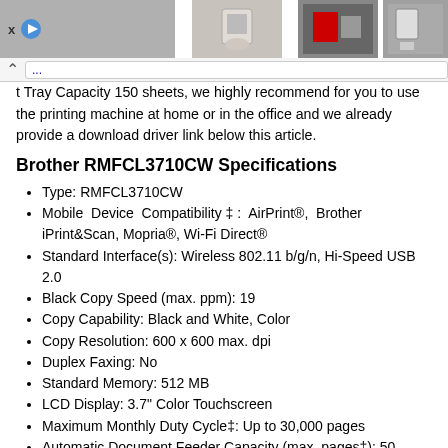[Browser header bar with images and navigation]
t Tray Capacity 150 sheets, we highly recommend for you to use the printing machine at home or in the office and we already provide a download driver link below this article.
Brother RMFCL3710CW Specifications
Type: RMFCL3710CW
Mobile Device Compatibility ‡ : AirPrint®, Brother iPrint&Scan, Mopria®, Wi-Fi Direct®
Standard Interface(s): Wireless 802.11 b/g/n, Hi-Speed USB 2.0
Black Copy Speed (max. ppm): 19
Copy Capability: Black and White, Color
Copy Resolution: 600 x 600 max. dpi
Duplex Faxing: No
Standard Memory: 512 MB
LCD Display: 3.7" Color Touchscreen
Maximum Monthly Duty Cycle‡: Up to 30,000 pages
Automatic Document Feeder Capacity (max. pages‡): 50
Duplex Printing Capability: No
Output Paper Capacity (sheets): 150
Standard Paper Input Capacity‡ (sheets): 250